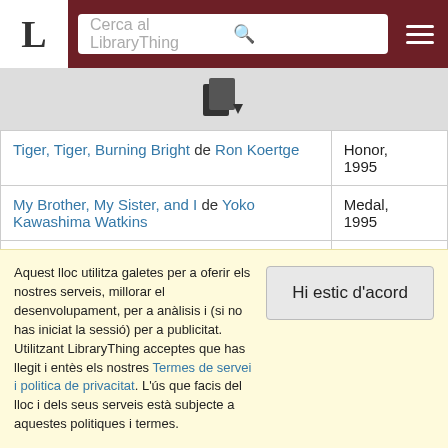LibraryThing — Cerca al LibraryThing
[Figure (other): Copy/export icon in gray subheader area]
| Book | Award |
| --- | --- |
| Tiger, Tiger, Burning Bright de Ron Koertge | Honor, 1995 |
| My Brother, My Sister, and I de Yoko Kawashima Watkins | Medal, 1995 |
| Been to Yesterdays: Poems of a Life de Lee Bennett Hopkins | Honor, 1996 |
| The Big Bazoohley de Peter Carey | Honor, 1996 |
Aquest lloc utilitza galetes per a oferir els nostres serveis, millorar el desenvolupament, per a anàlisis i (si no has iniciat la sessió) per a publicitat. Utilitzant LibraryThing acceptes que has llegit i entès els nostres Termes de servei i politica de privacitat. L'ús que facis del lloc i dels seus serveis està subjecte a aquestes politiques i termes.